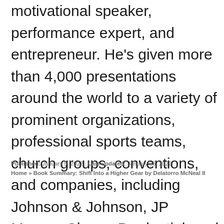motivational speaker, performance expert, and entrepreneur. He's given more than 4,000 presentations around the world to a variety of prominent organizations, professional sports teams, church groups, conventions, and companies, including Johnson & Johnson, JP Morgan Chase, Prudential, and the Million Dollar Round Table. He is also the author of eight books, including Thriving Through Your Storms and Caught Between a Dream and a Job.
Published: January 9, 2022 · Last updated: January 25, 2022
Home » Book Summary: Shift Into a Higher Gear by Delatorro McNeal II